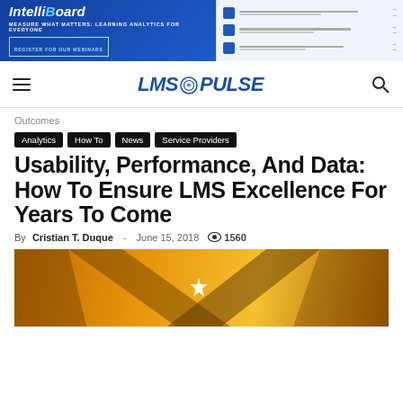[Figure (screenshot): IntelliBoard advertisement banner: 'IntelliBoard - Measure What Matters: Learning Analytics For Everyone' with register for webinar CTA, and a data table preview on the right side.]
LMS PULSE
Outcomes
Analytics
How To
News
Service Providers
Usability, Performance, And Data: How To Ensure LMS Excellence For Years To Come
By Cristian T. Duque - June 15, 2018 1560
[Figure (photo): Golden/orange colored abstract image with crossing wooden or metallic beams forming an X shape, with a bright light star or spark at the intersection.]